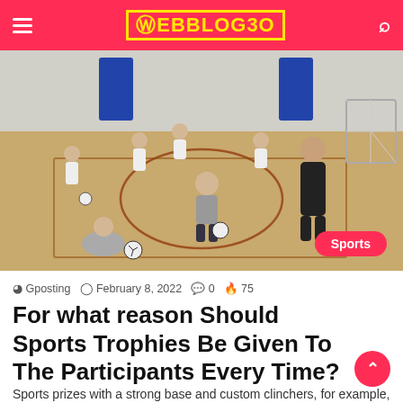WEBBLOG30
[Figure (photo): Children playing indoor futsal/soccer on a gym court with a coach standing nearby, blue banners on the wall, orange circle on the floor, soccer net in background.]
Sports
Gposting  February 8, 2022  0  75
For what reason Should Sports Trophies Be Given To The Participants Every Time?
Sports prizes with a strong base and custom clinchers, for example, small